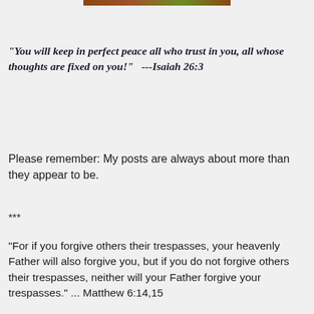[Figure (photo): A narrow horizontal image bar at the top center of the page, appearing to show a landscape scene.]
"You will keep in perfect peace all who trust in you, all whose thoughts are fixed on you!"   ---Isaiah 26:3
Please remember: My posts are always about more than they appear to be.
***
"For if you forgive others their trespasses, your heavenly Father will also forgive you, but if you do not forgive others their trespasses, neither will your Father forgive your trespasses." ... Matthew 6:14,15